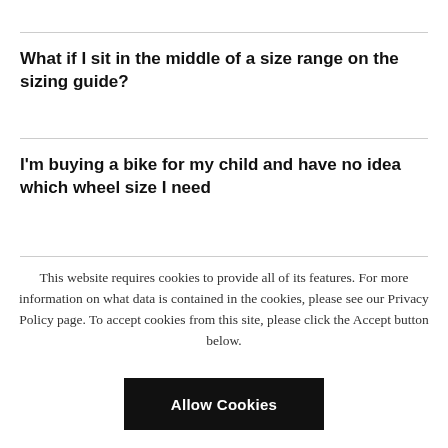What if I sit in the middle of a size range on the sizing guide?
I'm buying a bike for my child and have no idea which wheel size I need
This website requires cookies to provide all of its features. For more information on what data is contained in the cookies, please see our Privacy Policy page. To accept cookies from this site, please click the Accept button below.
Allow Cookies